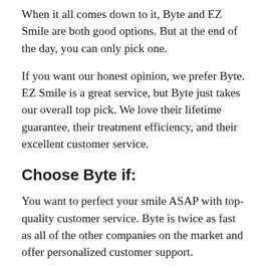When it all comes down to it, Byte and EZ Smile are both good options. But at the end of the day, you can only pick one.
If you want our honest opinion, we prefer Byte. EZ Smile is a great service, but Byte just takes our overall top pick. We love their lifetime guarantee, their treatment efficiency, and their excellent customer service.
Choose Byte if:
You want to perfect your smile ASAP with top-quality customer service. Byte is twice as fast as all of the other companies on the market and offer personalized customer support.